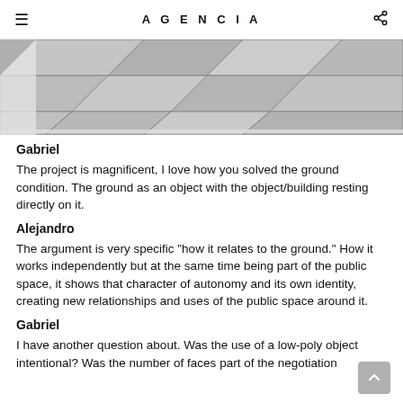AGENCIA
[Figure (photo): Close-up photograph of stone steps or paving with angular stone tiles and a white edge/border, seen from above at an angle. The stones appear grey/white against a dark background.]
Gabriel
The project is magnificent, I love how you solved the ground condition. The ground as an object with the object/building resting directly on it.
Alejandro
The argument is very specific "how it relates to the ground." How it works independently but at the same time being part of the public space, it shows that character of autonomy and its own identity, creating new relationships and uses of the public space around it.
Gabriel
I have another question about. Was the use of a low-poly object intentional? Was the number of faces part of the negotiation